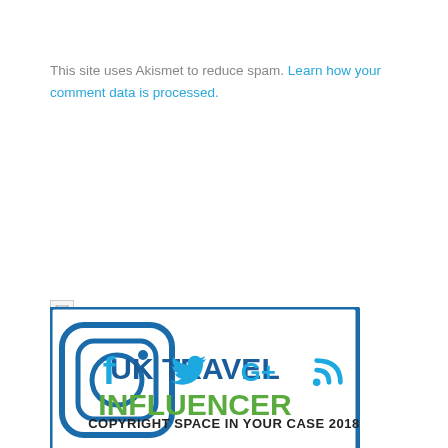This site uses Akismet to reduce spam. Learn how your comment data is processed.
[Figure (logo): UK Travel Influencer badge with Instagram icon, blue border rectangle, blue text 'UK TRAVEL' and green text 'INFLUENCER']
[Figure (infographic): Social media icons row: Facebook, Twitter, Google+, RSS feed — all in blue]
COPYRIGHT SPACE IN YOUR CASE 2018